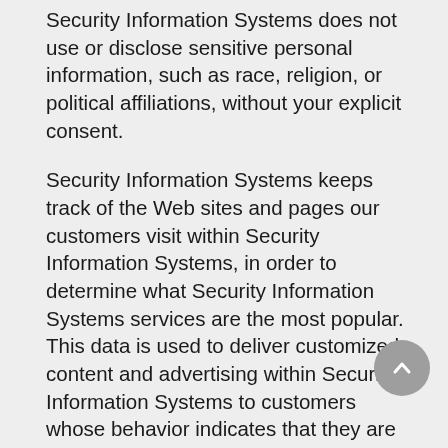Security Information Systems does not use or disclose sensitive personal information, such as race, religion, or political affiliations, without your explicit consent.
Security Information Systems keeps track of the Web sites and pages our customers visit within Security Information Systems, in order to determine what Security Information Systems services are the most popular. This data is used to deliver customized content and advertising within Security Information Systems to customers whose behavior indicates that they are interested in a particular subject area.
Security Information Systems Web sites will disclose your personal information, without notice, only if required to do so by law or in the good faith